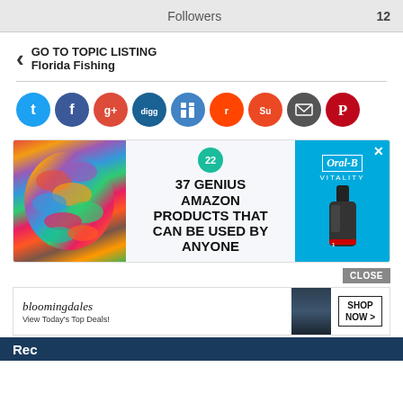Followers   12
< GO TO TOPIC LISTING Florida Fishing
[Figure (infographic): Row of social media share buttons (circles): Twitter, Facebook, Google+, Digg, LinkedIn, Reddit, StumbleUpon, Email, Pinterest]
[Figure (infographic): Advertisement banner: colorful scrunchies image on left, center text '22 / 37 GENIUS AMAZON PRODUCTS THAT CAN BE USED BY ANYONE', right side Oral-B Vitality electric toothbrush ad with X close button]
CLOSE
[Figure (infographic): Bloomingdale's advertisement: logo 'bloomingdales', text 'View Today's Top Deals!', woman in hat photo, SHOP NOW > button]
Rec